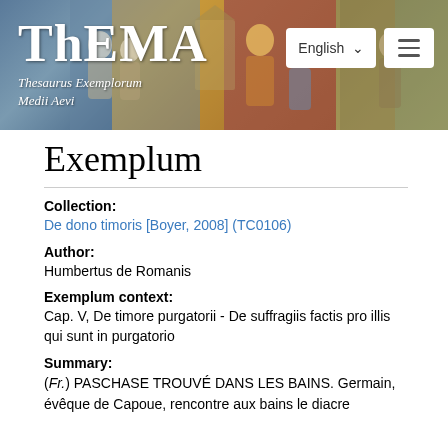ThEMA – Thesaurus Exemplorum Medii Aevi
Exemplum
Collection: De dono timoris [Boyer, 2008] (TC0106)
Author: Humbertus de Romanis
Exemplum context: Cap. V, De timore purgatorii - De suffragiis factis pro illis qui sunt in purgatorio
Summary: (Fr.) PASCHASE TROUVÉ DANS LES BAINS. Germain, évêque de Capoue, rencontre aux bains le diacre